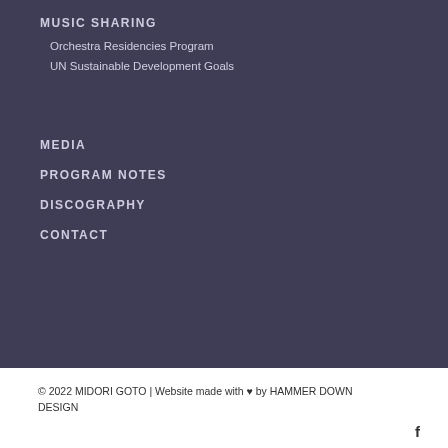MUSIC SHARING
Orchestra Residencies Program
UN Sustainable Development Goals
MEDIA
PROGRAM NOTES
DISCOGRAPHY
CONTACT
© 2022 MIDORI GOTO | Website made with ♥ by HAMMER DOWN DESIGN